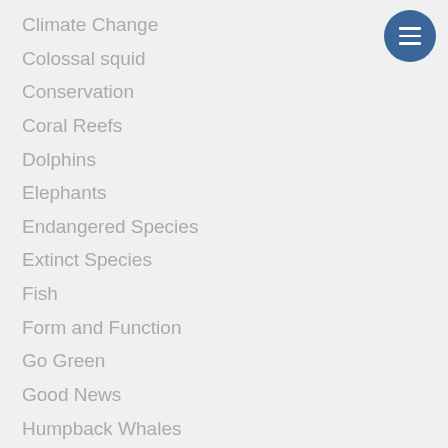Climate Change
Colossal squid
Conservation
Coral Reefs
Dolphins
Elephants
Endangered Species
Extinct Species
Fish
Form and Function
Go Green
Good News
Humpback Whales
Insects
Invertebrates
Just for Fun
[Figure (other): Circular dark blue menu button with three horizontal white lines (hamburger icon) in the top right corner]